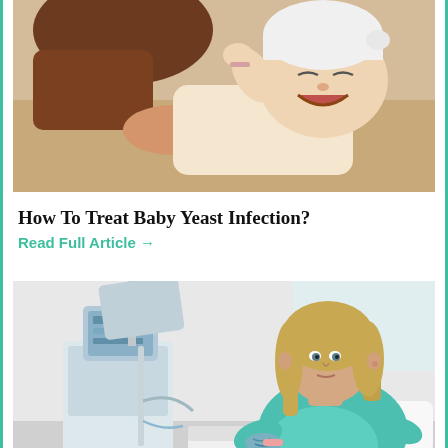[Figure (photo): A woman holding a crying baby wearing a white hat/headband, lying on a beige surface]
How To Treat Baby Yeast Infection?
Read Full Article →
[Figure (photo): A pregnant woman in a hospital gown sitting in a hospital bed next to medical equipment, with tattoos visible on her arm]